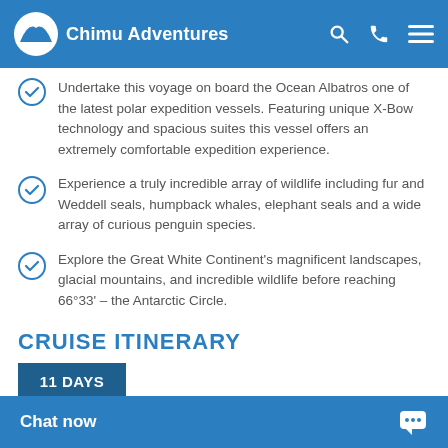Chimu Adventures
Undertake this voyage on board the Ocean Albatros one of the latest polar expedition vessels. Featuring unique X-Bow technology and spacious suites this vessel offers an extremely comfortable expedition experience.
Experience a truly incredible array of wildlife including fur and Weddell seals, humpback whales, elephant seals and a wide array of curious penguin species.
Explore the Great White Continent's magnificent landscapes, glacial mountains, and incredible wildlife before reaching 66°33' – the Antarctic Circle.
CRUISE ITINERARY
11 DAYS